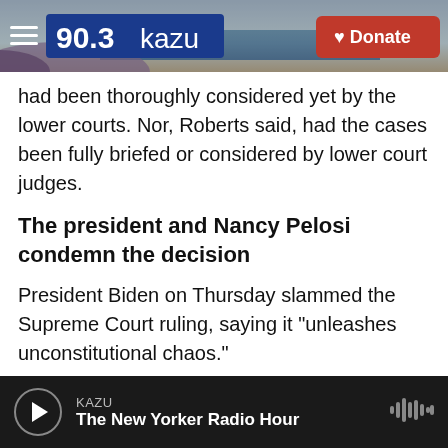[Figure (screenshot): KAZU 90.3 radio website header with logo, hamburger menu, coastal background photo, and red Donate button]
had been thoroughly considered yet by the lower courts. Nor, Roberts said, had the cases been fully briefed or considered by lower court judges.
The president and Nancy Pelosi condemn the decision
President Biden on Thursday slammed the Supreme Court ruling, saying it "unleashes unconstitutional chaos."
In a statement, he said the White House would look for ways the federal government could ensure Texans have access to safe and legal abortions
KAZU — The New Yorker Radio Hour